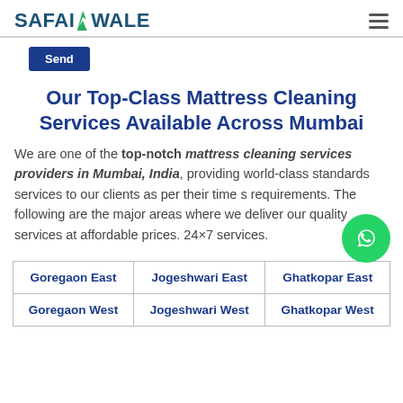SAFAIWALE
Send
Our Top-Class Mattress Cleaning Services Available Across Mumbai
We are one of the top-notch mattress cleaning services providers in Mumbai, India, providing world-class standards services to our clients as per their time schedule requirements. The following are the major areas where we deliver our quality services at affordable prices. 24×7 services.
| Goregaon East | Jogeshwari East | Ghatkopar East |
| --- | --- | --- |
| Goregaon West | Jogeshwari West | Ghatkopar West |